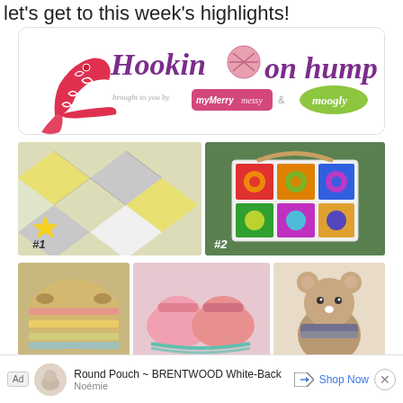let's get to this week's highlights!
[Figure (other): Hookin on Hump Day blog banner with decorative high heel shoe, yarn ball, brought to you by My Merry Messy Life and Moogly logos]
[Figure (photo): Crochet patchwork blanket/throw in yellow, white and grey with #1 star badge]
[Figure (photo): Colorful granny square tote bag in rainbow colors with #2 badge]
[Figure (photo): Striped crochet basket/bag in natural and pink tones]
[Figure (photo): Pink crochet baby booties/slippers]
[Figure (photo): Crocheted teddy bear amigurumi in brown/tan]
Ad  Round Pouch ~ BRENTWOOD White-Back   Noémie   Shop Now